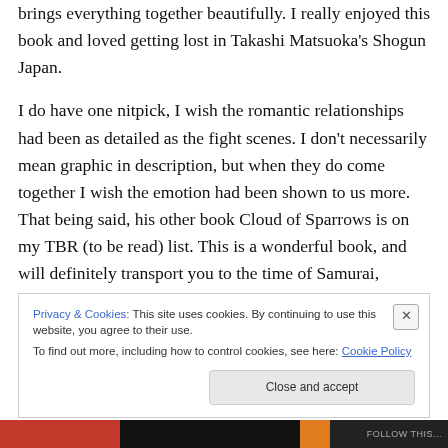brings everything together beautifully. I really enjoyed this book and loved getting lost in Takashi Matsuoka's Shogun Japan.
I do have one nitpick, I wish the romantic relationships had been as detailed as the fight scenes. I don't necessarily mean graphic in description, but when they do come together I wish the emotion had been shown to us more. That being said, his other book Cloud of Sparrows is on my TBR (to be read) list. This is a wonderful book, and will definitely transport you to the time of Samurai, Geisha,
Privacy & Cookies: This site uses cookies. By continuing to use this website, you agree to their use.
To find out more, including how to control cookies, see here: Cookie Policy